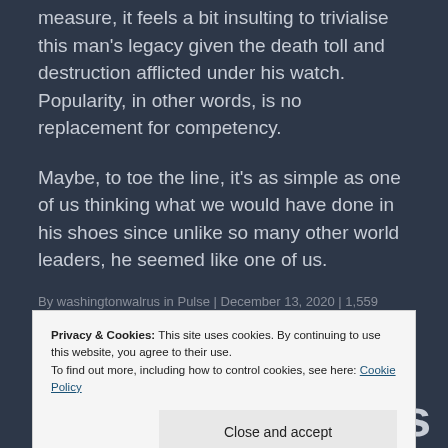measure, it feels a bit insulting to trivialise this man's legacy given the death toll and destruction afflicted under his watch. Popularity, in other words, is no replacement for competency.
Maybe, to toe the line, it's as simple as one of us thinking what we would have done in his shoes since unlike so many other world leaders, he seemed like one of us.
By washingtonwalrus in Pulse | December 13, 2020 | 1,559 Words | Leave a comment
Privacy & Cookies: This site uses cookies. By continuing to use this website, you agree to their use.
To find out more, including how to control cookies, see here: Cookie Policy
Close and accept
Cancel Culture's